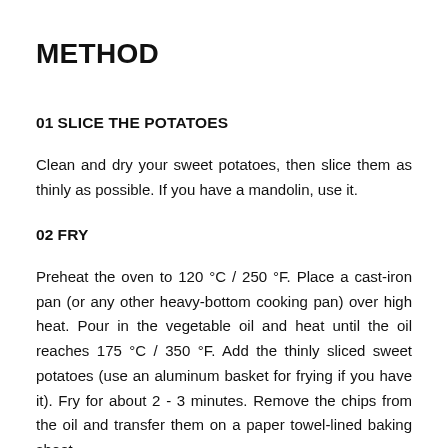METHOD
01 SLICE THE POTATOES
Clean and dry your sweet potatoes, then slice them as thinly as possible. If you have a mandolin, use it.
02 FRY
Preheat the oven to 120 °C / 250 °F. Place a cast-iron pan (or any other heavy-bottom cooking pan) over high heat. Pour in the vegetable oil and heat until the oil reaches 175 °C / 350 °F. Add the thinly sliced sweet potatoes (use an aluminum basket for frying if you have it). Fry for about 2 - 3 minutes. Remove the chips from the oil and transfer them on a paper towel-lined baking sheet.